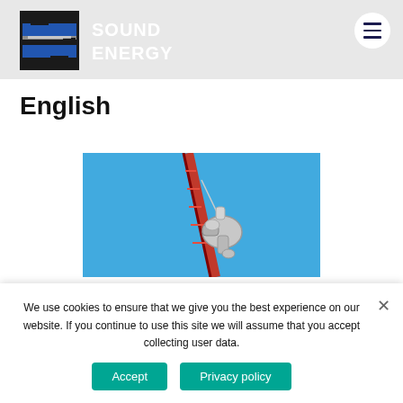[Figure (logo): Sound Energy logo — stylized 'SE' mark in black and blue squares, with 'SOUND ENERGY' text in white]
English
[Figure (photo): Industrial crane lifting a curved pipe fitting against a clear blue sky]
We use cookies to ensure that we give you the best experience on our website. If you continue to use this site we will assume that you accept collecting user data.
Accept | Privacy policy